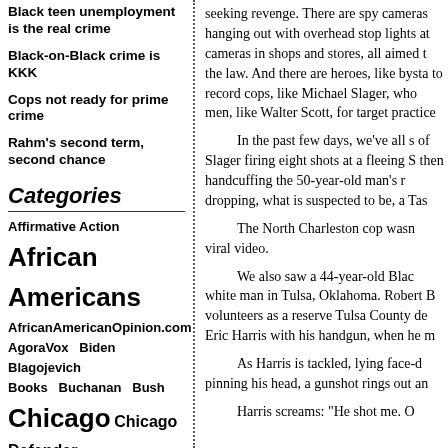Black teen unemployment is the real crime
Black-on-Black crime is KKK
Cops not ready for prime crime
Rahm's second term, second chance
Categories
Affirmative Action African Americans AfricanAmericanOpinion.com AgoraVox Biden Blagojevich Books Buchanan Bush Chicago Chicago Defender Chicago Tribune China Clarence Thomas Clinton Common Ground Culture Current Affairs Daley Darfur Democrats DNC Dr. M.L. King Ebonyjet.com
seeking revenge. There are spy cameras hanging out with overhead stop lights at cameras in shops and stores, all aimed t the law. And there are heroes, like bysta to record cops, like Michael Slager, who men, like Walter Scott, for target practice
In the past few days, we've all s of Slager firing eight shots at a fleeing S then handcuffing the 50-year-old man's dropping, what is suspected to be, a Tas
The North Charleston cop wasn viral video.
We also saw a 44-year-old Blac white man in Tulsa, Oklahoma. Robert B volunteers as a reserve Tulsa County de Eric Harris with his handgun, when he m
As Harris is tackled, lying face-d pinning his head, a gunshot rings out an
Harris screams: "He shot me. O